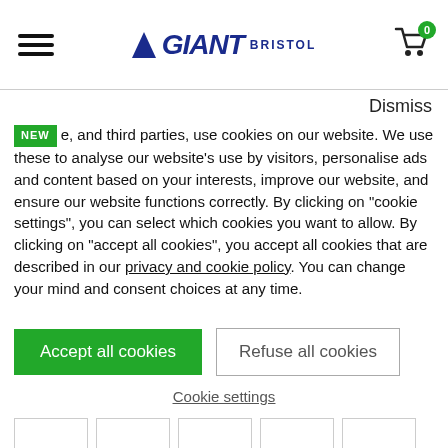GIANT BRISTOL — hamburger menu, logo, cart with badge 0
Dismiss
NEW — e, and third parties, use cookies on our website. We use these to analyse our website's use by visitors, personalise ads and content based on your interests, improve our website, and ensure our website functions correctly. By clicking on "cookie settings", you can select which cookies you want to allow. By clicking on "accept all cookies", you accept all cookies that are described in our privacy and cookie policy. You can change your mind and consent choices at any time.
Accept all cookies
Refuse all cookies
Cookie settings